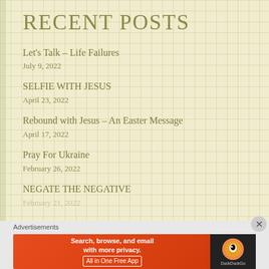RECENT POSTS
Let's Talk – Life Failures
July 9, 2022
SELFIE WITH JESUS
April 23, 2022
Rebound with Jesus – An Easter Message
April 17, 2022
Pray For Ukraine
February 26, 2022
NEGATE THE NEGATIVE
February 21, 2022
Advertisements
[Figure (screenshot): DuckDuckGo advertisement banner: 'Search, browse, and email with more privacy. All in One Free App' on orange background with DuckDuckGo logo on black background.]